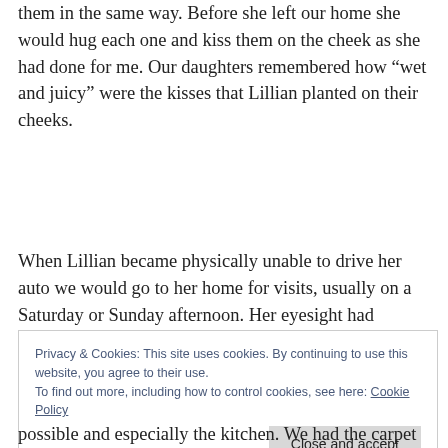them in the same way. Before she left our home she would hug each one and kiss them on the cheek as she had done for me. Our daughters remembered how “wet and juicy” were the kisses that Lillian planted on their cheeks.
When Lillian became physically unable to drive her auto we would go to her home for visits, usually on a Saturday or Sunday afternoon. Her eyesight had become so poor her usually spotless house became more and more possible and especially the kitchen. We had the carpet
Privacy & Cookies: This site uses cookies. By continuing to use this website, you agree to their use.
To find out more, including how to control cookies, see here: Cookie Policy